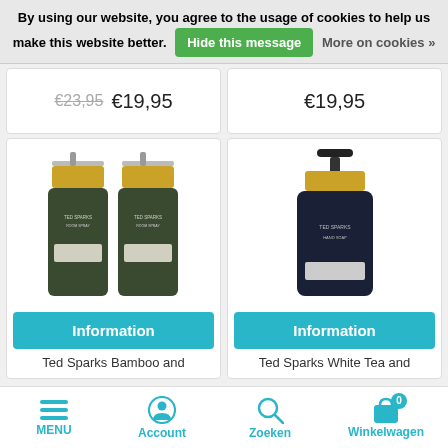By using our website, you agree to the usage of cookies to help us make this website better. Hide this message More on cookies »
€23,95  €19,95
€19,95
[Figure (photo): Two dark green spray bottles with gold caps labeled TED SPARKS ROOM SPRAY]
Information
Ted Sparks Bamboo and
[Figure (photo): One dark navy pump bottle with gold cap labeled TED SPARKS HAND SOAP]
Information
Ted Sparks White Tea and
MENU  Account  Zoeken  Winkelwagen  0